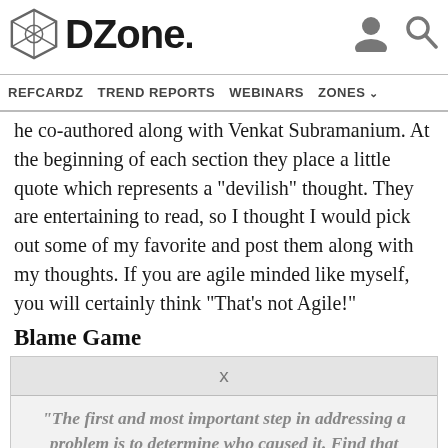DZone. REFCARDZ  TREND REPORTS  WEBINARS  ZONES
he co-authored along with Venkat Subramanium. At the beginning of each section they place a little quote which represents a "devilish" thought. They are entertaining to read, so I thought I would pick out some of my favorite and post them along with my thoughts. If you are agile minded like myself, you will certainly think "That's not Agile!"
Blame Game
"The first and most important step in addressing a problem is to determine who caused it. Find that moron! Once you've established fault, then you can make sure the problem doesn't happen again. Ever."